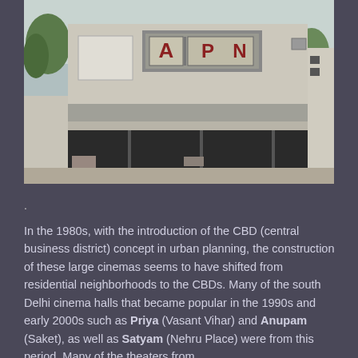[Figure (photo): Photograph of an old, dilapidated cinema building with the partial signage 'A PN' visible on its facade. The building is a concrete structure, painted light grey, with a flat roof and dark ground-floor storefronts. Trees are visible on the left side.]
.
In the 1980s, with the introduction of the CBD (central business district) concept in urban planning, the construction of these large cinemas seems to have shifted from residential neighborhoods to the CBDs. Many of the south Delhi cinema halls that became popular in the 1990s and early 2000s such as Priya (Vasant Vihar) and Anupam (Saket), as well as Satyam (Nehru Place) were from this period. Many of the theaters from